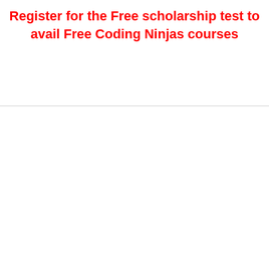Register for the Free scholarship test to avail Free Coding Ninjas courses